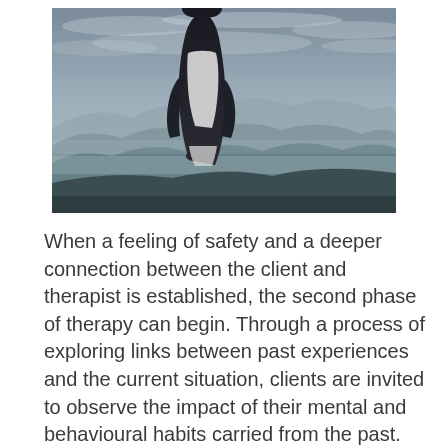[Figure (photo): A person viewed from behind, wearing a white t-shirt, standing and looking out over a misty mountainous landscape under a cloudy sky.]
When a feeling of safety and a deeper connection between the client and therapist is established, the second phase of therapy can begin. Through a process of exploring links between past experiences and the current situation, clients are invited to observe the impact of their mental and behavioural habits carried from the past. The